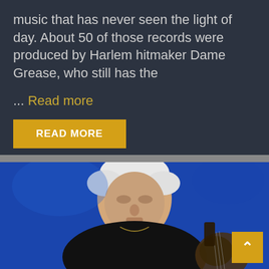music that has never seen the light of day. About 50 of those records were produced by Harlem hitmaker Dame Grease, who still has the
... Read more
READ MORE
[Figure (photo): An elderly man with white hair wearing a black shirt, playing or holding an acoustic guitar against a vivid blue background, photographed at what appears to be a live performance.]